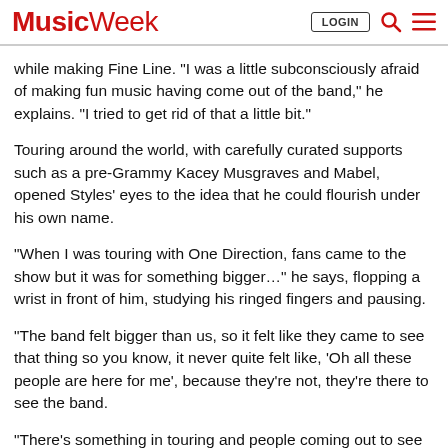Music Week | LOGIN | Search | Menu
while making Fine Line. “I was a little subconsciously afraid of making fun music having come out of the band,” he explains. “I tried to get rid of that a little bit.”
Touring around the world, with carefully curated supports such as a pre-Grammy Kacey Musgraves and Mabel, opened Styles’ eyes to the idea that he could flourish under his own name.
“When I was touring with One Direction, fans came to the show but it was for something bigger…” he says, flopping a wrist in front of him, studying his ringed fingers and pausing.
“The band felt bigger than us, so it felt like they came to see that thing so you know, it never quite felt like, ‘Oh all these people are here for me’, because they’re not, they’re there to see the band.
“There’s something in touring and people coming out to see the album that felt like, ‘Oh, that’s what they want from me, to make the music that I want to make and play the show I’d like to play.’”